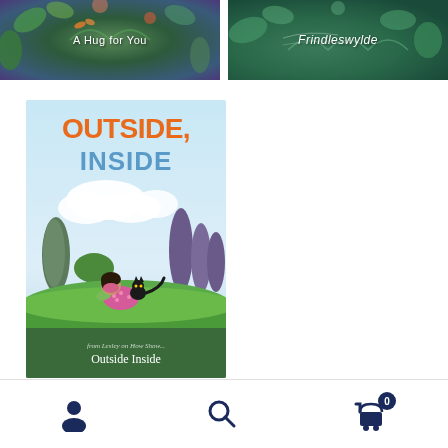[Figure (photo): Book cover partial: 'A Hug for You' — colorful illustrated cover with white text on dark floral/nature background]
[Figure (photo): Book cover partial: 'Frindleswylde' — illustrated cover with cursive/italic white text on green nature background]
[Figure (photo): Book cover: 'Outside, Inside' — illustrated children's book cover showing 'OUTSIDE,' in orange and 'INSIDE' in blue on light blue sky background, with a girl in pink wearing a mask sitting on green grass next to a black cat, surrounded by stylized trees. Subtitle text reads 'Outside Inside']
Beautiful Christmas picture books by Irish authors &
[Figure (other): Navigation bar with three icons: person/account icon, search magnifying glass icon, and shopping cart icon with badge showing '0']